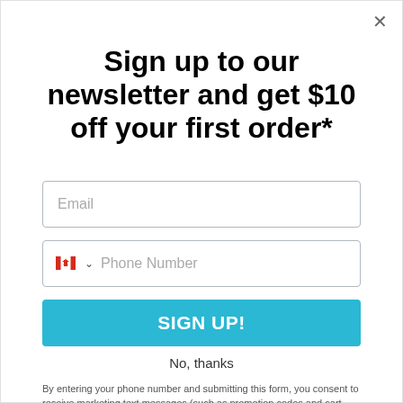Sign up to our newsletter and get $10 off your first order*
Email
Phone Number
SIGN UP!
No, thanks
By entering your phone number and submitting this form, you consent to receive marketing text messages (such as promotion codes and cart reminders) from IMPERIAL DATA SUPPLY CORP. at the number provided, including messages sent by autodialer. Consent is not a condition of any purchase. Message and data rates may apply. Message frequency varies. You can unsubscribe at any time by replying STOP or clicking the unsubscribe link (where available) in one of our messages. View our Privacy Policy.